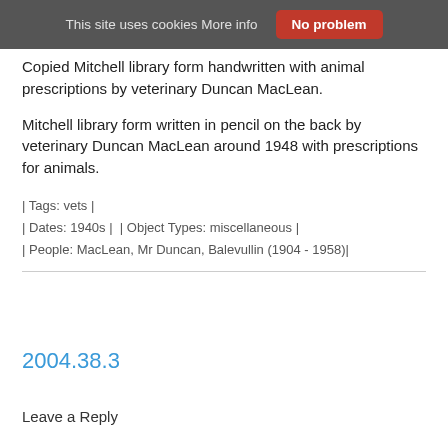This site uses cookies More info  No problem
Copied Mitchell library form handwritten with animal prescriptions by veterinary Duncan MacLean.
Mitchell library form written in pencil on the back by veterinary Duncan MacLean around 1948 with prescriptions for animals.
| Tags: vets |
| Dates: 1940s |  | Object Types: miscellaneous |
| People: MacLean, Mr Duncan, Balevullin (1904 - 1958)|
2004.38.3
Leave a Reply